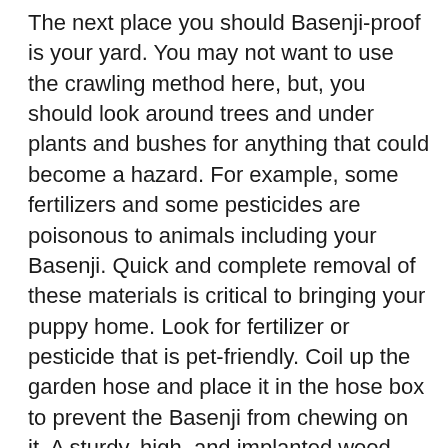The next place you should Basenji-proof is your yard. You may not want to use the crawling method here, but, you should look around trees and under plants and bushes for anything that could become a hazard. For example, some fertilizers and some pesticides are poisonous to animals including your Basenji. Quick and complete removal of these materials is critical to bringing your puppy home. Look for fertilizer or pesticide that is pet-friendly. Coil up the garden hose and place it in the hose box to prevent the Basenji from chewing on it. A sturdy, high, and implanted wood fence is highly recommended as many Basenji's can climb the chain link fences. Owners should never cut the grass, weed whack, use the leaf blower or the snow blower if the Basenji is outside. These machines tend to launch debris into the air and can harm the Basenji. Always supervise...